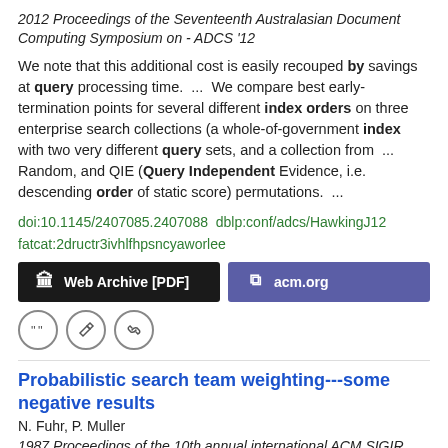2012 Proceedings of the Seventeenth Australasian Document Computing Symposium on - ADCS '12
We note that this additional cost is easily recouped by savings at query processing time.  ...  We compare best early-termination points for several different index orders on three enterprise search collections (a whole-of-government index with two very different query sets, and a collection from  ...  Random, and QIE (Query Independent Evidence, i.e. descending order of static score) permutations.  ...
doi:10.1145/2407085.2407088  dblp:conf/adcs/HawkingJ12 fatcat:2dructr3ivhlfhpsncyaworlee
[Figure (other): Two buttons: 'Web Archive [PDF]' (dark background) and 'acm.org' (purple background)]
[Figure (other): Three circular icon buttons: quote, edit, link]
Probabilistic search team weighting---some negative results
N. Fuhr, P. Muller
1987 Proceedings of the 10th annual international ACM SIGIR conference on Research and development in information retrieval - SIGIR '87
Continuation of abstract text about probabilistic search...